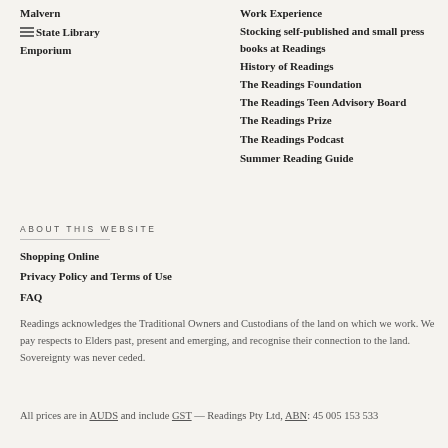Malvern
State Library
Emporium
Work Experience
Stocking self-published and small press books at Readings
History of Readings
The Readings Foundation
The Readings Teen Advisory Board
The Readings Prize
The Readings Podcast
Summer Reading Guide
ABOUT THIS WEBSITE
Shopping Online
Privacy Policy and Terms of Use
FAQ
Readings acknowledges the Traditional Owners and Custodians of the land on which we work. We pay respects to Elders past, present and emerging, and recognise their connection to the land. Sovereignty was never ceded.
All prices are in AUDS and include GST — Readings Pty Ltd, ABN: 45 005 153 533